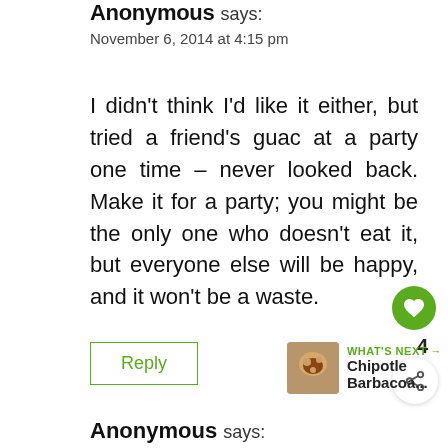Anonymous says:
November 6, 2014 at 4:15 pm
I didn't think I'd like it either, but tried a friend's guac at a party one time – never looked back. Make it for a party; you might be the only one who doesn't eat it, but everyone else will be happy, and it won't be a waste.
Reply
4
[Figure (infographic): WHAT'S NEXT arrow label with thumbnail image and text 'Chipotle Barbacoa...']
Anonymous says: